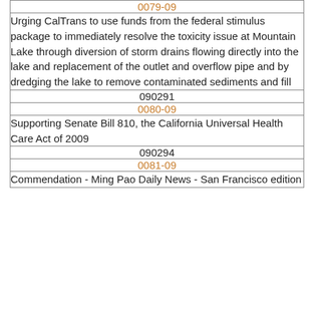| 0079-09 |
| Urging CalTrans to use funds from the federal stimulus package to immediately resolve the toxicity issue at Mountain Lake through diversion of storm drains flowing directly into the lake and replacement of the outlet and overflow pipe and by dredging the lake to remove contaminated sediments and fill |
| 090291 |
| 0080-09 |
| Supporting Senate Bill 810, the California Universal Health Care Act of 2009 |
| 090294 |
| 0081-09 |
| Commendation - Ming Pao Daily News - San Francisco edition |